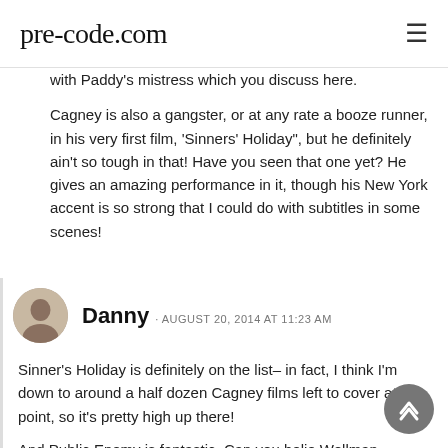pre-code.com
with Paddy's mistress which you discuss here.
Cagney is also a gangster, or at any rate a booze runner, in his very first film, 'Sinners' Holiday", but he definitely ain't so tough in that! Have you seen that one yet? He gives an amazing performance in it, though his New York accent is so strong that I could do with subtitles in some scenes!
Danny · AUGUST 20, 2014 AT 11:23 AM
Sinner's Holiday is definitely on the list– in fact, I think I'm down to around a half dozen Cagney films left to cover at this point, so it's pretty high up there!
And Public Enemy is fantastic. Can you belie Wellman followed this up with Night Nurse? ...